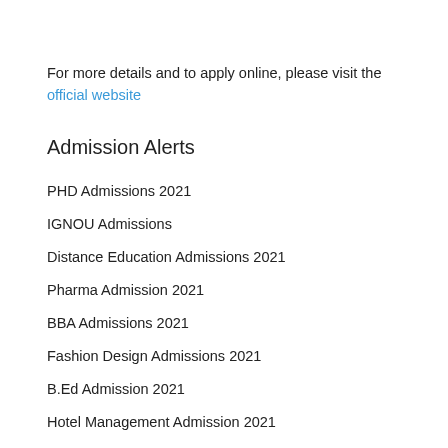For more details and to apply online, please visit the official website
Admission Alerts
PHD Admissions 2021
IGNOU Admissions
Distance Education Admissions 2021
Pharma Admission 2021
BBA Admissions 2021
Fashion Design Admissions 2021
B.Ed Admission 2021
Hotel Management Admission 2021